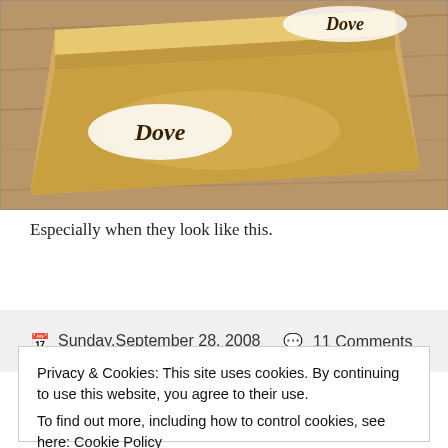[Figure (photo): A gold/bronze colored Dove chocolate tin box with the Dove logo in script lettering, shown from a slight angle. The Dove brand name appears twice on the tin.]
Especially when they look like this.
Sunday,September 28, 2008  11 Comments
Privacy & Cookies: This site uses cookies. By continuing to use this website, you agree to their use.
To find out more, including how to control cookies, see here: Cookie Policy
Close and accept